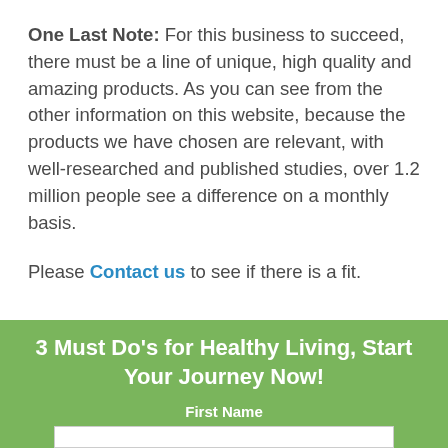One Last Note: For this business to succeed, there must be a line of unique, high quality and amazing products. As you can see from the other information on this website, because the products we have chosen are relevant, with well-researched and published studies, over 1.2 million people see a difference on a monthly basis.
Please Contact us to see if there is a fit.
3 Must Do's for Healthy Living, Start Your Journey Now!
First Name